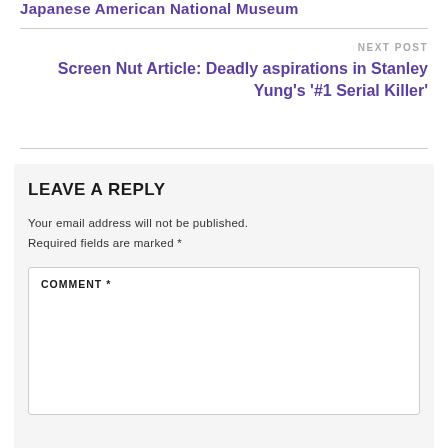Japanese American National Museum
NEXT POST
Screen Nut Article: Deadly aspirations in Stanley Yung's '#1 Serial Killer'
LEAVE A REPLY
Your email address will not be published. Required fields are marked *
COMMENT *